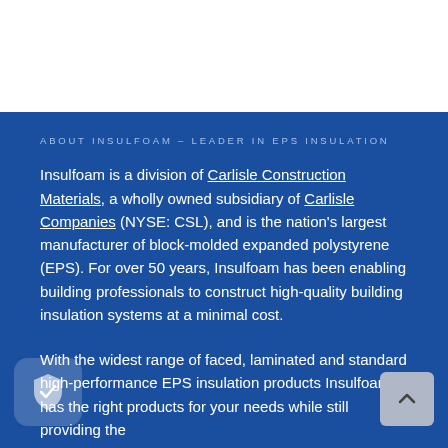[Figure (other): White top banner area (likely a header image or logo area, content not visible)]
ABOUT INSULFOAM – LEADER IN EPS INSULATION
Insulfoam is a division of Carlisle Construction Materials, a wholly owned subsidiary of Carlisle Companies (NYSE: CSL), and is the nation's largest manufacturer of block-molded expanded polystyrene (EPS). For over 50 years, Insulfoam has been enabling building professionals to construct high-quality building insulation systems at a minimal cost.
With the widest range of faced, laminated and standard high-performance EPS insulation products Insulfoam has the right products for your needs while still providing the